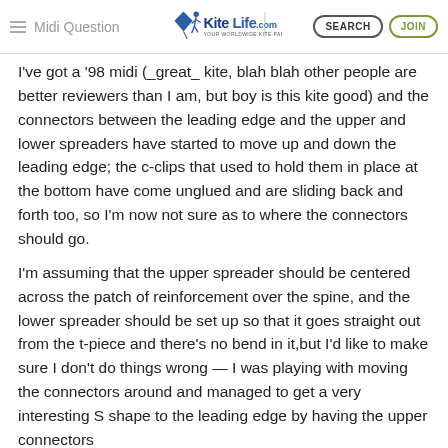Midi Question — KiteLife.com — SEARCH | JOIN
I've got a '98 midi (_great_ kite, blah blah other people are better reviewers than I am, but boy is this kite good) and the connectors between the leading edge and the upper and lower spreaders have started to move up and down the leading edge; the c-clips that used to hold them in place at the bottom have come unglued and are sliding back and forth too, so I'm now not sure as to where the connectors should go.
I'm assuming that the upper spreader should be centered across the patch of reinforcement over the spine, and the lower spreader should be set up so that it goes straight out from the t-piece and there's no bend in it,but I'd like to make sure I don't do things wrong — I was playing with moving the connectors around and managed to get a very interesting S shape to the leading edge by having the upper connectors